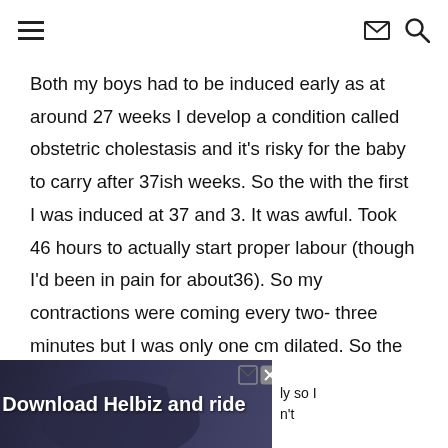Navigation header with hamburger menu, envelope icon, and search icon
Both my boys had to be induced early as at around 27 weeks I develop a condition called obstetric cholestasis and it’s risky for the baby to carry after 37ish weeks. So the with the first I was induced at 37 and 3. It was awful. Took 46 hours to actually start proper labour (though I’d been in pain for about36). So my contractions were coming every two- three minutes but I was only one cm dilated. So the midwife said I need an epidural which took another two hours for the anaesthetist to come. But after that things escalated really quickly and I went from 3cm – 10cm
[Figure (photo): Advertisement banner: Download Helbiz and ride, showing person on scooter/bike, with close icons and partial text 'ly so I' and 'n't' on the right side]